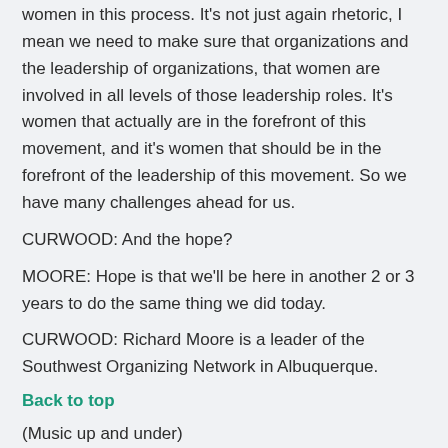women in this process. It's not just again rhetoric, I mean we need to make sure that organizations and the leadership of organizations, that women are involved in all levels of those leadership roles. It's women that actually are in the forefront of this movement, and it's women that should be in the forefront of the leadership of this movement. So we have many challenges ahead for us.
CURWOOD: And the hope?
MOORE: Hope is that we'll be here in another 2 or 3 years to do the same thing we did today.
CURWOOD: Richard Moore is a leader of the Southwest Organizing Network in Albuquerque.
Back to top
(Music up and under)